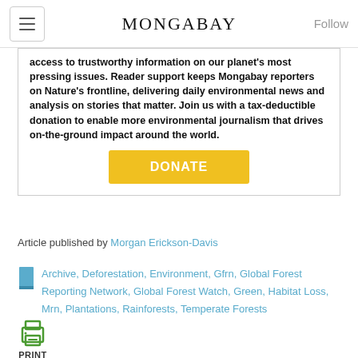MONGABAY
access to trustworthy information on our planet's most pressing issues. Reader support keeps Mongabay reporters on Nature's frontline, delivering daily environmental news and analysis on stories that matter. Join us with a tax-deductible donation to enable more environmental journalism that drives on-the-ground impact around the world.
DONATE
Article published by Morgan Erickson-Davis
Archive, Deforestation, Environment, Gfrn, Global Forest Reporting Network, Global Forest Watch, Green, Habitat Loss, Mrn, Plantations, Rainforests, Temperate Forests
PRINT